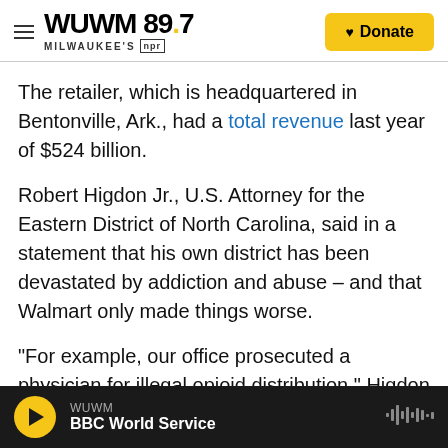WUWM 89.7 MILWAUKEE'S NPR — Donate
The retailer, which is headquartered in Bentonville, Ark., had a total revenue last year of $524 billion.
Robert Higdon Jr., U.S. Attorney for the Eastern District of North Carolina, said in a statement that his own district has been devastated by addiction and abuse – and that Walmart only made things worse.
"For example, our office prosecuted a physician for illegal opioid distribution," Higdon said. "A jury convicted him just last year, and he is currently serving a twenty-year prison sentence. As it turns
WUWM — BBC World Service